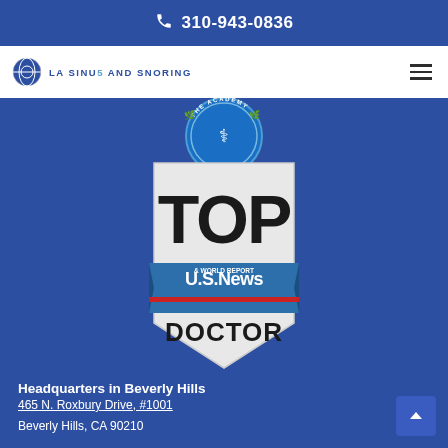310-943-0836
[Figure (logo): LA Sinus and Snoring logo with globe icon and navigation hamburger menu]
[Figure (illustration): U.S. News & World Report Top Doctor badge/shield with circular medical organization seal above it, on blue background]
Headquarters in Beverly Hills
465 N. Roxbury Drive, #1001
Beverly Hills, CA 90210